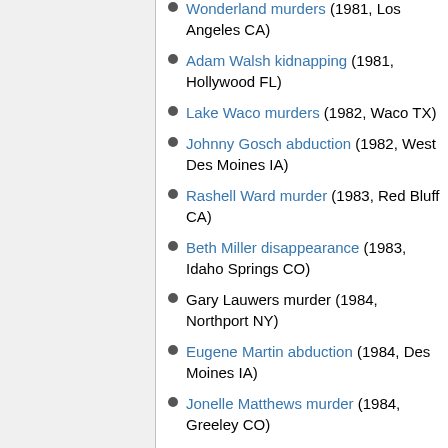Wonderland murders (1981, Los Angeles CA)
Adam Walsh kidnapping (1981, Hollywood FL)
Lake Waco murders (1982, Waco TX)
Johnny Gosch abduction (1982, West Des Moines IA)
Rashell Ward murder (1983, Red Bluff CA)
Beth Miller disappearance (1983, Idaho Springs CO)
Gary Lauwers murder (1984, Northport NY)
Eugene Martin abduction (1984, Des Moines IA)
Jonelle Matthews murder (1984, Greeley CO)
Denise Davenport murder (1985, Greeley CO)